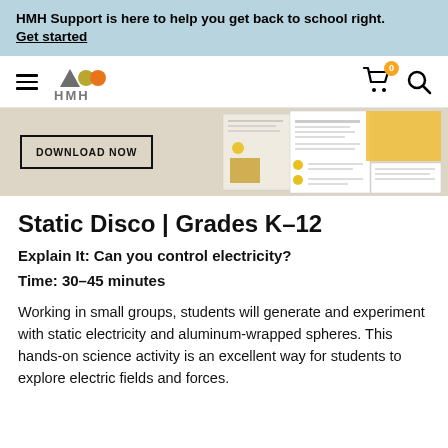HMH Support is here to help you get back to school right. Get started
[Figure (logo): HMH logo with hamburger menu, cart with badge showing 0, and search icon navigation bar]
[Figure (screenshot): Hero banner with DOWNLOAD NOW button and document previews on the right side]
Static Disco | Grades K–12
Explain It: Can you control electricity?
Time: 30–45 minutes
Working in small groups, students will generate and experiment with static electricity and aluminum-wrapped spheres. This hands-on science activity is an excellent way for students to explore electric fields and forces.